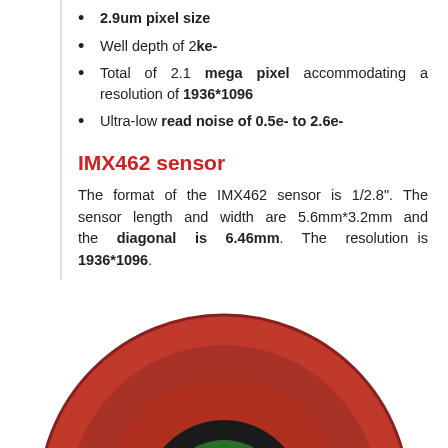2.9um pixel size
Well depth of 2ke-
Total of 2.1 mega pixel accommodating a resolution of 1936*1096
Ultra-low read noise of 0.5e- to 2.6e-
IMX462 sensor
The format of the IMX462 sensor is 1/2.8". The sensor length and width are 5.6mm*3.2mm and the diagonal is 6.46mm. The resolution is 1936*1096.
[Figure (photo): Red circular camera sensor housing with green sensor chip visible in center, photographed from front]